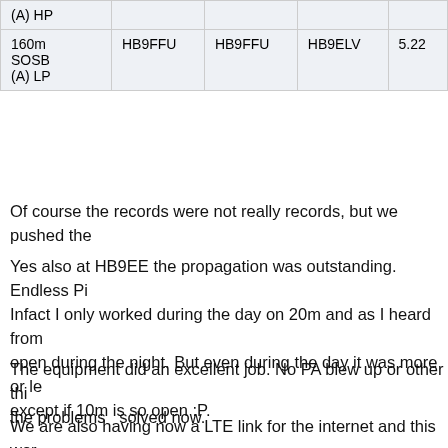| (A) HP |  |  |  |  |
| 160m
SOSB
(A) LP | HB9FFU | HB9FFU | HB9ELV | 5.22 |
Of course the records were not really records, but we pushed the
Yes also at HB9EE the propagation was outstanding. Endless Pi... Infact I only worked during the day on 20m and as I heard from open during the night. But even during the day it was more or le... except if 10m is so open :P.
The equipment did an excellent job. No PA blew up or other thi... the problems  solved now.
We are also having now a LTE link for the internet and this wor... whole contest time 🙂